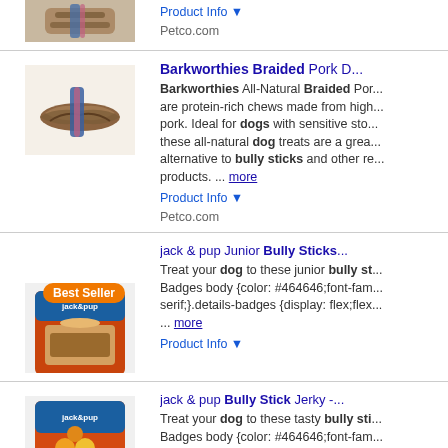[Figure (photo): Top partial product image (cropped braided pork chew) with Product Info and Petco.com source]
Product Info ▼
Petco.com
[Figure (photo): Barkworthies braided pork chew product image]
Barkworthies Braided Pork D... — Barkworthies All-Natural Braided Por... are protein-rich chews made from high... pork. Ideal for dogs with sensitive sto... these all-natural dog treats are a grea... alternative to bully sticks and other re... products. ... more
Product Info ▼
Petco.com
[Figure (photo): jack & pup Junior Bully Sticks product package image with Best Seller badge]
jack & pup Junior Bully Sticks... — Treat your dog to these junior bully st... Badges body {color: #464646;font-fam... serif;}.details-badges {display: flex;flex... ... more
Product Info ▼
[Figure (photo): jack & pup Bully Stick Jerky product package image]
jack & pup Bully Stick Jerky -... — Treat your dog to these tasty bully sti... Badges body {color: #464646;font-fam... serif;}.details-badges {display: flex;flex... ... more
Product Info ▼